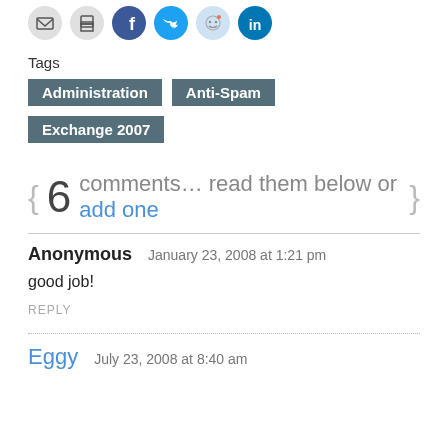[Figure (other): Social sharing icon buttons: email, print, Facebook (blue), Twitter (blue), Reddit (light), LinkedIn (blue)]
Tags
Administration   Anti-Spam   Exchange 2007
{ 6 comments… read them below or add one }
Anonymous   January 23, 2008 at 1:21 pm
good job!
REPLY
Eggy   July 23, 2008 at 8:40 am